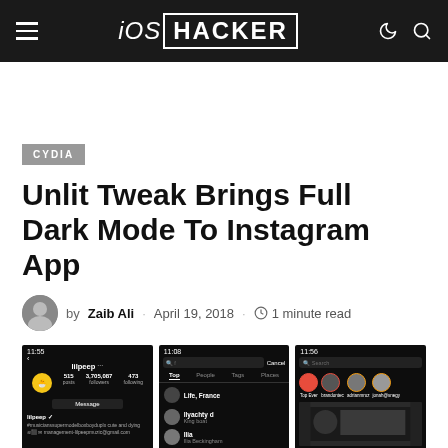iOS HACKER
CYDIA
Unlit Tweak Brings Full Dark Mode To Instagram App
by Zaib Ali · April 19, 2018 · 1 minute read
[Figure (screenshot): Three screenshots of Instagram app in dark mode: profile page of lilpeep, search results page, and explore/stories page, all with black backgrounds]